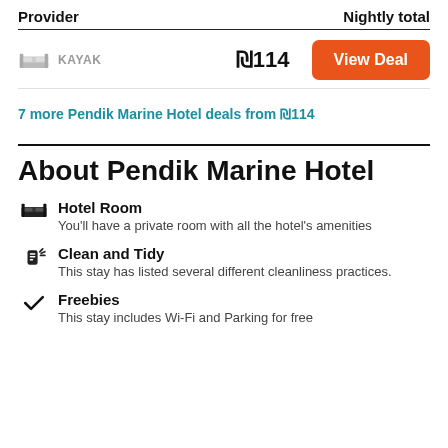| Provider | Nightly total |
| --- | --- |
| KAYAK (bed icon) | ₪114 |
7 more Pendik Marine Hotel deals from ₪114
About Pendik Marine Hotel
Hotel Room
You'll have a private room with all the hotel's amenities
Clean and Tidy
This stay has listed several different cleanliness practices.
Freebies
This stay includes Wi-Fi and Parking for free